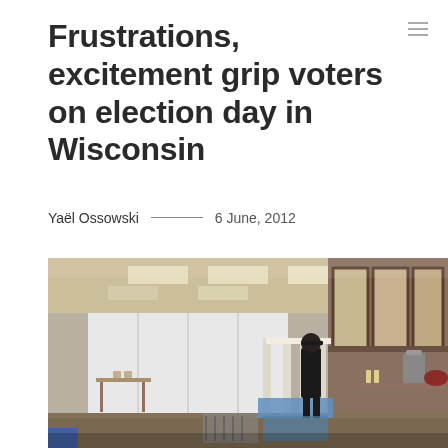Frustrations, excitement grip voters on election day in Wisconsin
Yaël Ossowski — 6 June, 2012
[Figure (photo): Interior photograph of a voting location in Wisconsin showing voting booths with white privacy panels and blue skirting, a person standing at a booth, folding chairs, tables, and fluorescent ceiling lights in a community hall setting.]